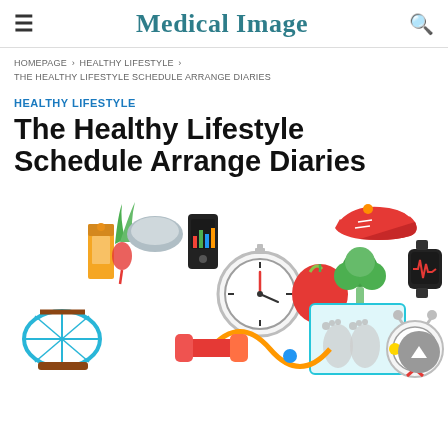Medical Image
HOMEPAGE > HEALTHY LIFESTYLE > THE HEALTHY LIFESTYLE SCHEDULE ARRANGE DIARIES
HEALTHY LIFESTYLE
The Healthy Lifestyle Schedule Arrange Diaries
[Figure (illustration): Colorful illustration of healthy lifestyle items including fruits, vegetables, stopwatch, tennis racket, sneakers, scale, smartwatch, alarm clock, fitness tracker, apple, broccoli, and other health-related objects arranged in a flat-lay style.]